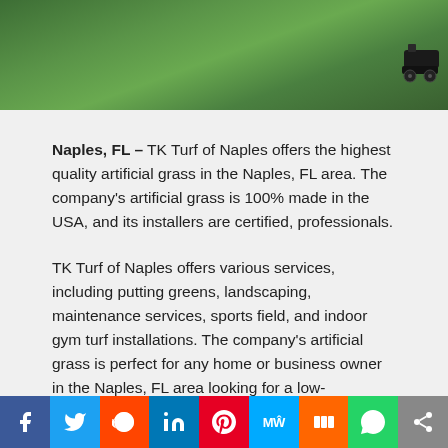[Figure (photo): Aerial or close-up photo of green artificial grass lawn with a lawn mower visible in the top right corner]
Naples, FL – TK Turf of Naples offers the highest quality artificial grass in the Naples, FL area. The company's artificial grass is 100% made in the USA, and its installers are certified, professionals.
TK Turf of Naples offers various services, including putting greens, landscaping, maintenance services, sports field, and indoor gym turf installations. The company's artificial grass is perfect for any home or business owner in the Naples, FL area looking for a low-maintenance, high-quality artificial grass solution.
“With summer in full swing, we know you want to make sure your grandchildren can play safely without worrying about getting dirty or tracking grass in.” Said the company